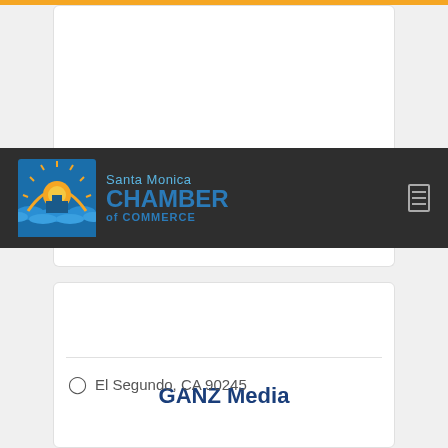[Figure (logo): Santa Monica Chamber of Commerce logo with navigation bar on dark background]
GANZ Media
El Segundo, CA 90245